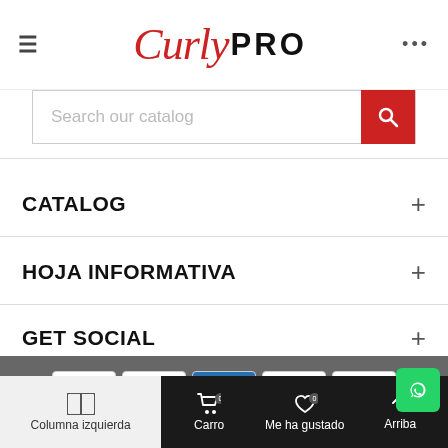[Figure (logo): Curly PRO logo — 'Curly' in red cursive script, 'PRO' in bold black sans-serif]
Search our catalog
CATALOG +
HOJA INFORMATIVA +
GET SOCIAL +
[Figure (infographic): Payment method icons: MasterCard, VISA, American Express, Discover, PayPal]
© 2022 CURLY HOUSE BARCELONA S.L. All Rights Reserved
Columna izquierda   Carro 0   Me ha gustado 0   Arriba